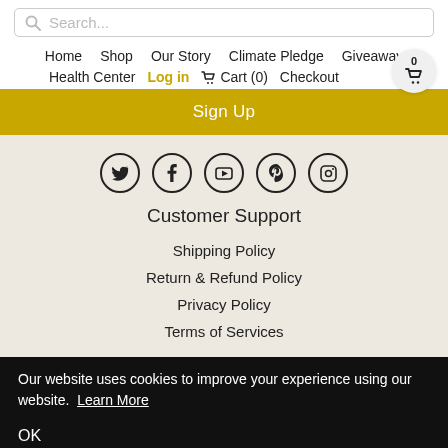Search...
Home  Shop  Our Story  Climate Pledge  Giveaway
Health Center  Log in  Cart (0)  Checkout  0
Sign Up
[Figure (illustration): Social media icons in circles: Twitter, Facebook, YouTube, Pinterest, Instagram]
Customer Support
Shipping Policy
Return & Refund Policy
Privacy Policy
Terms of Services
Our website uses cookies to improve your experience using our website.  Learn More
OK
© 2022 Seven Minerals. Powered by Shopify